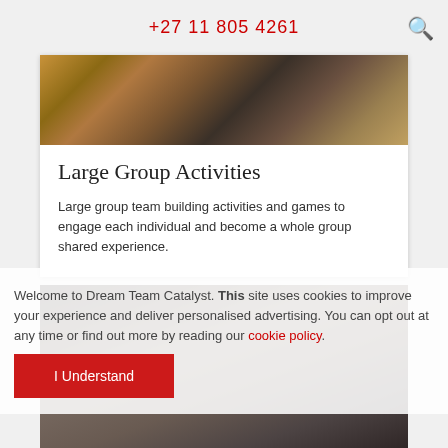+27 11 805 4261
[Figure (photo): Crowd of people at a large group team building event, seen from above]
Large Group Activities
Large group team building activities and games to engage each individual and become a whole group shared experience.
[Figure (photo): Two people at a table, partially visible, at a team building activity]
Welcome to Dream Team Catalyst. This site uses cookies to improve your experience and deliver personalised advertising. You can opt out at any time or find out more by reading our cookie policy.